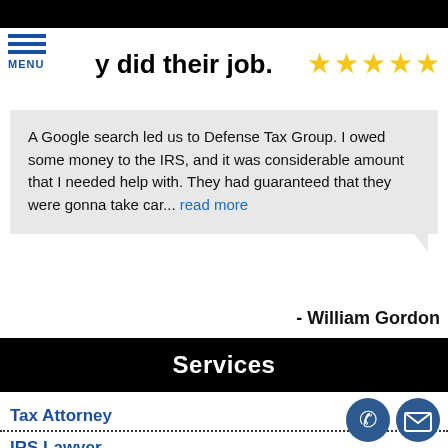y did their job.
A Google search led us to Defense Tax Group. I owed some money to the IRS, and it was considerable amount that I needed help with. They had guaranteed that they were gonna take car... read more
- William Gordon
Services
Tax Attorney
IRS Lawyer
Levy Lawyer